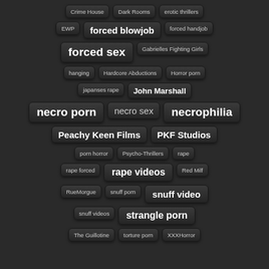Crime House
Dark Rooms
erotic thrillers
EWP
forced blowjob
forced handjob
forced sex
Gabrielles Fighting Girls
hanging
Hardcore Abductions
Horror porn
japanses rape
John Marshall
necro porn
necro sex
necrophilia
Peachy Keen Films
PKF Studios
porn horror
Psycho-Thrillers
rape
rape forced
rape videos
Red Milf
RueMorgue
snuff porn
snuff video
snuff videos
strangle porn
The Guillotine
torture porn
XXXHorror